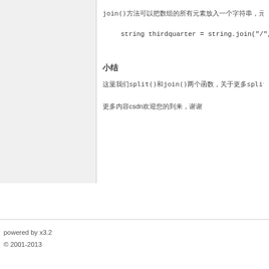join()方法可以把数组的所有元素放入一个字符串，元素通过指定的分隔符来分隔
string thirdquarter = string.join("/", year, 6,
小结
这里我们split()和join()两个函数，关于更多split()的使用请参考文档
更多内容csdn欢迎您的到来，谢谢
powered by x3.2
© 2001-2013